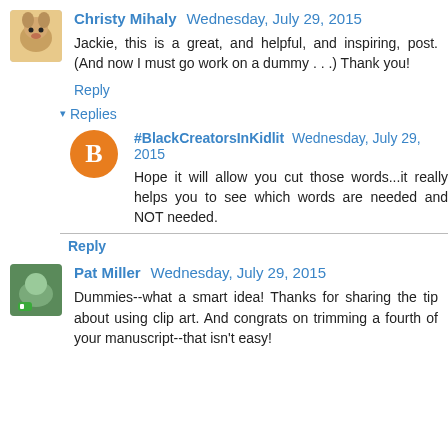Christy Mihaly  Wednesday, July 29, 2015
Jackie, this is a great, and helpful, and inspiring, post. (And now I must go work on a dummy . . .) Thank you!
Reply
Replies
#BlackCreatorsInKidlit  Wednesday, July 29, 2015
Hope it will allow you cut those words...it really helps you to see which words are needed and NOT needed.
Reply
Pat Miller  Wednesday, July 29, 2015
Dummies--what a smart idea! Thanks for sharing the tip about using clip art. And congrats on trimming a fourth of your manuscript--that isn't easy!